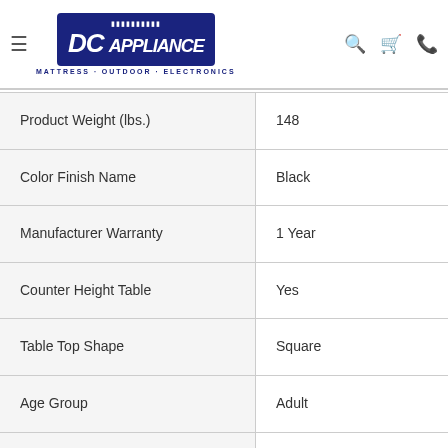DC Appliance — Mattress · Outdoor · Electronics
| Product Weight (lbs.) | 148 |
| Color Finish Name | Black |
| Manufacturer Warranty | 1 Year |
| Counter Height Table | Yes |
| Table Top Shape | Square |
| Age Group | Adult |
| Wood Finish | Black |